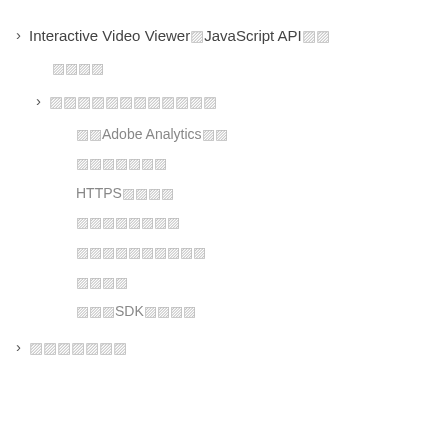Interactive Video Viewer▨JavaScript API▨▨
▨▨▨▨
▨▨▨▨▨▨▨▨▨▨▨▨
▨▨Adobe Analytics▨▨
▨▨▨▨▨▨▨
HTTPS▨▨▨▨
▨▨▨▨▨▨▨▨
▨▨▨▨▨▨▨▨▨▨
▨▨▨▨
▨▨▨SDK▨▨▨▨
▨▨▨▨▨▨▨